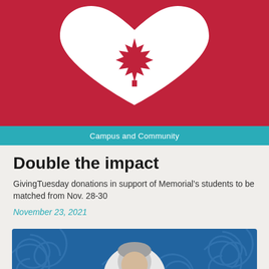[Figure (illustration): Red background with a large white heart outline containing a red maple leaf in its center, representing Canadian GivingTuesday campaign.]
Campus and Community
Double the impact
GivingTuesday donations in support of Memorial’s students to be matched from Nov. 28-30
November 23, 2021
[Figure (photo): Blue swirling pattern background with a circular portrait of a grey-haired man in the center.]